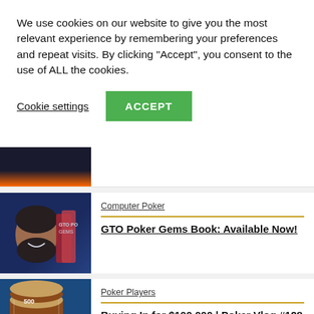We use cookies on our website to give you the most relevant experience by remembering your preferences and repeat visits. By clicking “Accept”, you consent to the use of ALL the cookies.
Cookie settings
ACCEPT
[Figure (photo): Partial thumbnail of a person, cropped at top]
[Figure (photo): Man smiling holding GTO Poker Gems books, blue background]
Computer Poker
GTO Poker Gems Book: Available Now!
[Figure (photo): Poker chips stacked on a blue felt table]
Poker Players
Buying In for $100,000 | Poker Vlog #128